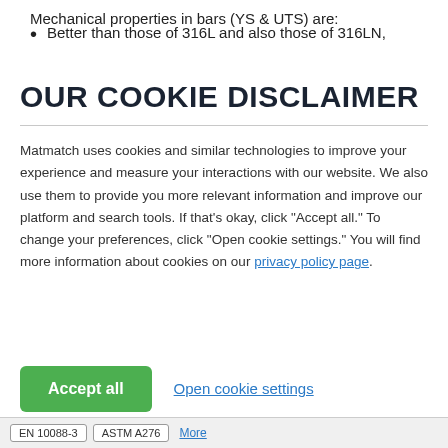Mechanical properties in bars (YS & UTS) are:
Better than those of 316L and also those of 316LN,
OUR COOKIE DISCLAIMER
Matmatch uses cookies and similar technologies to improve your experience and measure your interactions with our website. We also use them to provide you more relevant information and improve our platform and search tools. If that’s okay, click “Accept all.” To change your preferences, click “Open cookie settings.” You will find more information about cookies on our privacy policy page.
Accept all
Open cookie settings